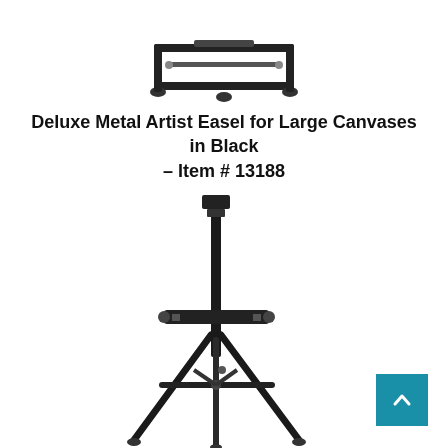[Figure (photo): Partial top view of a small black metal table-top easel frame, cropped at the top of the page.]
Deluxe Metal Artist Easel for Large Canvases in Black – Item # 13188
[Figure (photo): Full black metal tripod artist easel standing upright with adjustable canvas holder, photographed on white background.]